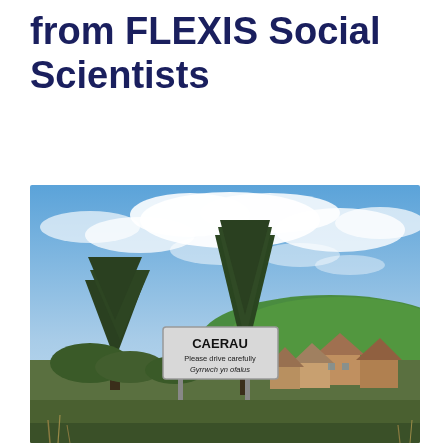from FLEXIS Social Scientists
[Figure (photo): Photograph of a road sign reading 'CAERAU / Please drive carefully / Gyrrwch yn ofalus' with tall conifer trees behind it, green hills in the background, residential houses visible to the right, and a partly cloudy blue sky above.]